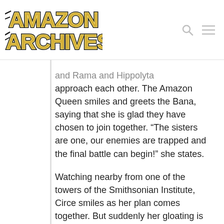[Figure (logo): Amazon Archives logo with gold/yellow stylized text on white background with black outlines]
and Rama and Hippolyta approach each other. The Amazon Queen smiles and greets the Bana, saying that she is glad they have chosen to join together. “The sisters are one, our enemies are trapped and the final battle can begin!” she states.

Watching nearby from one of the towers of the Smithsonian Institute, Circe smiles as her plan comes together. But suddenly her gloating is